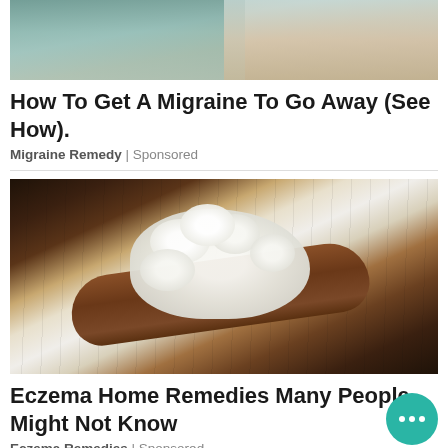[Figure (photo): Partial view of two people, cropped at the top of the page]
How To Get A Migraine To Go Away (See How).
Migraine Remedy | Sponsored
[Figure (photo): A wooden spoon holding white kefir grains on a rustic dark wood background]
Eczema Home Remedies Many People Might Not Know
Eczema Remedies | Sponsored